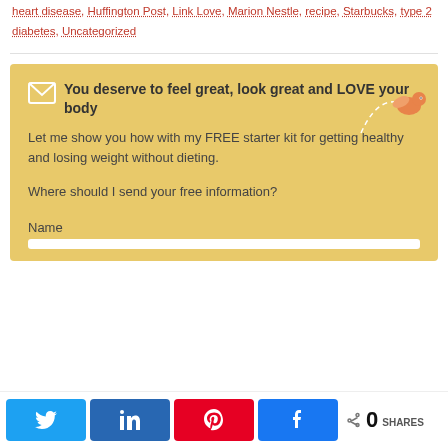heart disease, Huffington Post, Link Love, Marion Nestle, recipe, Starbucks, type 2 diabetes, Uncategorized
You deserve to feel great, look great and LOVE your body

Let me show you how with my FREE starter kit for getting healthy and losing weight without dieting.

Where should I send your free information?

Name
0 SHARES